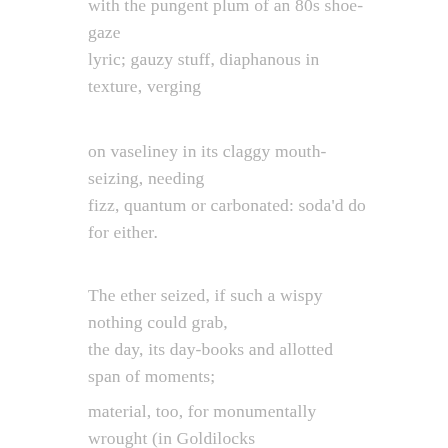with the pungent plum of an 80s shoe-gaze
lyric; gauzy stuff, diaphanous in texture, verging
on vaseliney in its claggy mouth-seizing, needing
fizz, quantum or carbonated: soda'd do for either.
The ether seized, if such a wispy nothing could grab,
the day, its day-books and allotted span of moments;
material, too, for monumentally wrought (in Goldilocks
measures: neither over- nor under-)